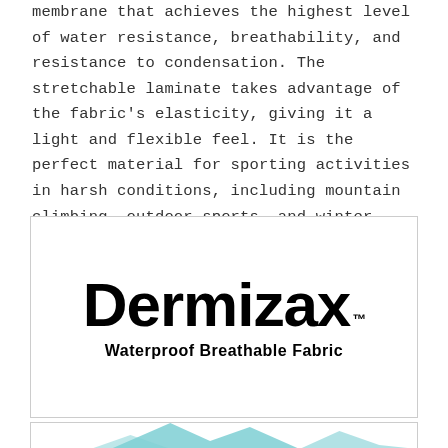membrane that achieves the highest level of water resistance, breathability, and resistance to condensation. The stretchable laminate takes advantage of the fabric's elasticity, giving it a light and flexible feel. It is the perfect material for sporting activities in harsh conditions, including mountain climbing, outdoor sports, and winter sports.
[Figure (logo): Dermizax logo with trademark symbol and tagline 'Waterproof Breathable Fabric' inside a bordered box]
[Figure (illustration): Mountain peaks illustration in teal/cyan color, partially visible at bottom of page]